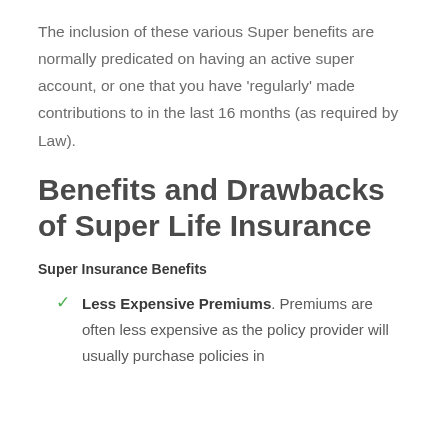The inclusion of these various Super benefits are normally predicated on having an active super account, or one that you have 'regularly' made contributions to in the last 16 months (as required by Law).
Benefits and Drawbacks of Super Life Insurance
Super Insurance Benefits
Less Expensive Premiums. Premiums are often less expensive as the policy provider will usually purchase policies in